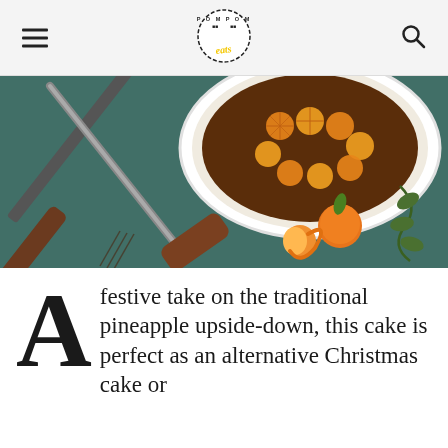POMPOM eats (logo)
[Figure (photo): Overhead flat-lay photo of a pineapple upside-down cake in a white dish on a teal/dark green surface, with a dark-handled knife and fresh mandarin oranges with peel beside the dish, and green leaves in the corner.]
A festive take on the traditional pineapple upside-down, this cake is perfect as an alternative Christmas cake or